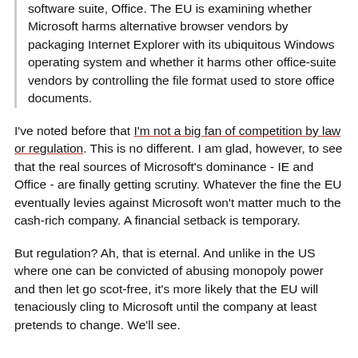software suite, Office. The EU is examining whether Microsoft harms alternative browser vendors by packaging Internet Explorer with its ubiquitous Windows operating system and whether it harms other office-suite vendors by controlling the file format used to store office documents.
I've noted before that I'm not a big fan of competition by law or regulation. This is no different. I am glad, however, to see that the real sources of Microsoft's dominance - IE and Office - are finally getting scrutiny. Whatever the fine the EU eventually levies against Microsoft won't matter much to the cash-rich company. A financial setback is temporary.
But regulation? Ah, that is eternal. And unlike in the US where one can be convicted of abusing monopoly power and then let go scot-free, it's more likely that the EU will tenaciously cling to Microsoft until the company at least pretends to change. We'll see.